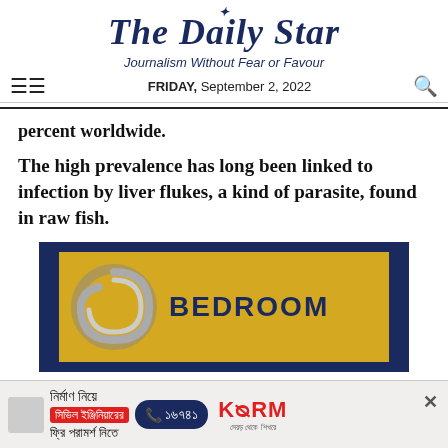The Daily Star — Journalism Without Fear or Favour — FRIDAY, September 2, 2022
percent worldwide.
The high prevalence has long been linked to infection by liver flukes, a kind of parasite, found in raw fish.
[Figure (advertisement): Bedroom advertisement with spiral logo on gold background and dark blue border]
[Figure (advertisement): KSRM Bengali advertisement for civil engineering consultation: নির্মাণ নিয়ে, সিভিল ইঞ্জিনিয়ারের, ফ্রি পরামর্শ নিতে. Phone: ১৬৭৪১. KSRM logo.]